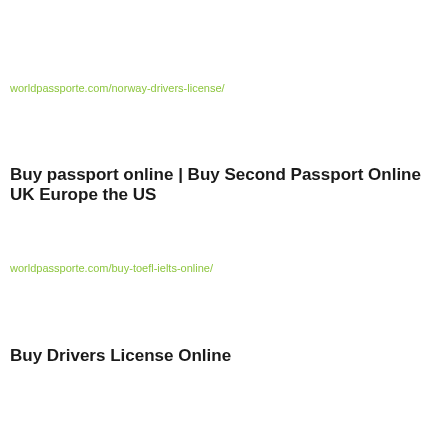worldpassporte.com/norway-drivers-license/
Buy passport online | Buy Second Passport Online UK Europe the US
worldpassporte.com/buy-toefl-ielts-online/
Buy Drivers License Online